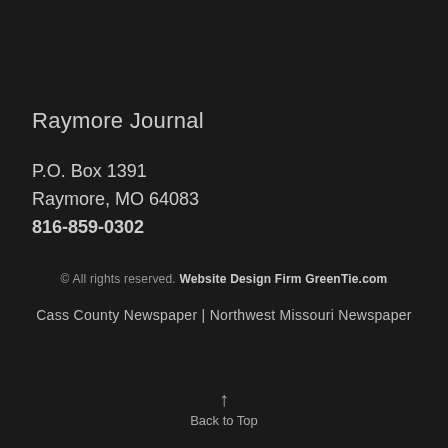Raymore Journal
P.O. Box 1391
Raymore, MO 64083
816-859-0302
© All rights reserved. Website Design Firm GreenTie.com
Cass County Newspaper | Northwest Missouri Newspaper
↑ Back to Top